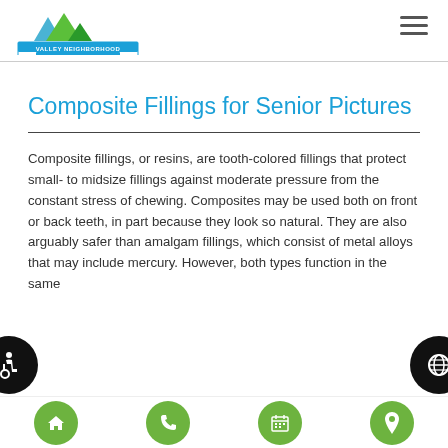Valley Neighborhood Dental Center
Composite Fillings for Senior Pictures
Composite fillings, or resins, are tooth-colored fillings that protect small- to midsize fillings against moderate pressure from the constant stress of chewing. Composites may be used both on front or back teeth, in part because they look so natural. They are also arguably safer than amalgam fillings, which consist of metal alloys that may include mercury. However, both types function in the same